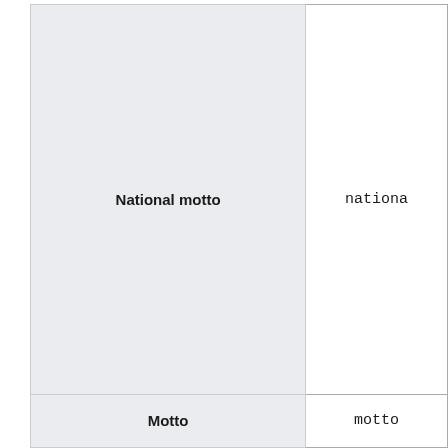| National motto | national... |
| --- | --- |
| National motto | nationa |
| Motto | motto |
National motto
nationa
Motto
motto